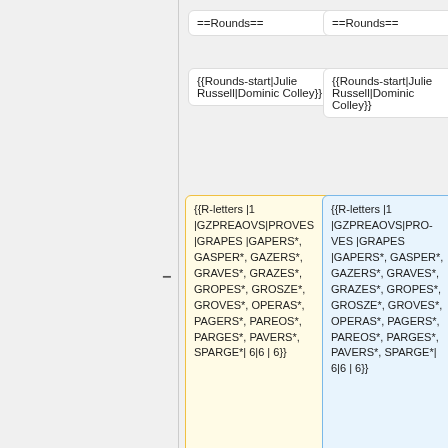==Rounds==
==Rounds==
{{Rounds-start|Julie Russell|Dominic Colley}}
{{Rounds-start|Julie Russell|Dominic Colley}}
{{R-letters |1 |GZPREAOVS|PROVES |GRAPES |GAPERS*, GASPER*, GAZERS*, GRAVES*, GRAZES*, GROPES*, GROSZE*, GROVES*, OPERAS*, PAGERS*, PAREOS*, PARGES*, PAVERS*, SPARGE*| 6|6 | 6}}
{{R-letters |1 |GZPREAOVS|PROVES |GRAPES |GAPERS*, GASPER*, GAZERS*, GRAVES*, GRAZES*, GROPES*, GROSZE*, GROVES*, OPERAS*, PAGERS*, PAREOS*, PARGES*, PAVERS*, SPARGE*| 6|6 | 6}}